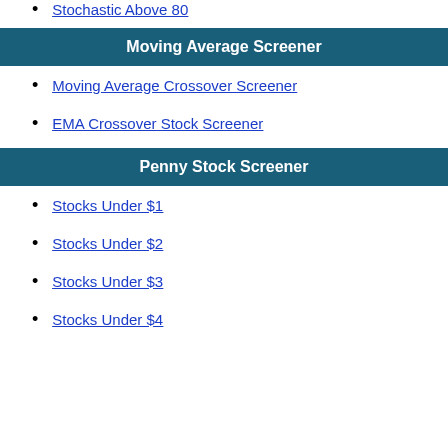Stochastic Above 80
Moving Average Screener
Moving Average Crossover Screener
EMA Crossover Stock Screener
Penny Stock Screener
Stocks Under $1
Stocks Under $2
Stocks Under $3
Stocks Under $4